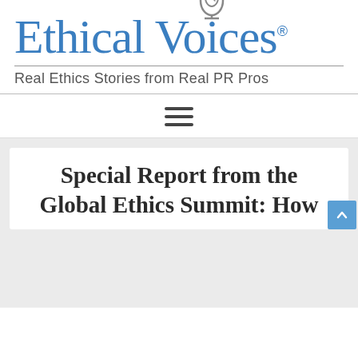[Figure (logo): Ethical Voices logo with microphone icon, blue serif wordmark and tagline 'Real Ethics Stories from Real PR Pros']
[Figure (other): Hamburger menu icon (three horizontal lines)]
Special Report from the Global Ethics Summit: How